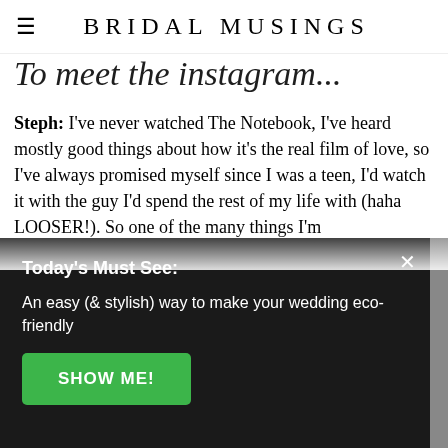BRIDAL MUSINGS
Steph: I've never watched The Notebook, I've heard mostly good things about how it's the real film of love, so I've always promised myself since I was a teen, I'd watch it with the guy I'd spend the rest of my life with (haha LOOSER!). So one of the many things I'm
Today's Must See:
An easy (& stylish) way to make your wedding eco-friendly
SHOW ME!